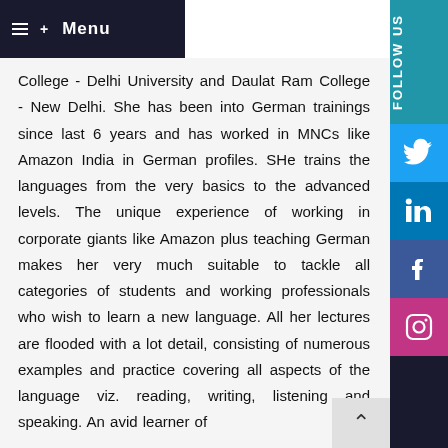Menu
College - Delhi University and Daulat Ram College - New Delhi. She has been into German trainings since last 6 years and has worked in MNCs like Amazon India in German profiles. SHe trains the languages from the very basics to the advanced levels. The unique experience of working in corporate giants like Amazon plus teaching German makes her very much suitable to tackle all categories of students and working professionals who wish to learn a new language. All her lectures are flooded with a lot detail, consisting of numerous examples and practice covering all aspects of the language viz. reading, writing, listening and speaking. An avid learner of
[Figure (infographic): Right sidebar with FOLLOW US label and social media icons: Twitter (blue), LinkedIn (blue), Facebook (dark blue), Instagram (pink/purple), and a scroll-up chevron button]